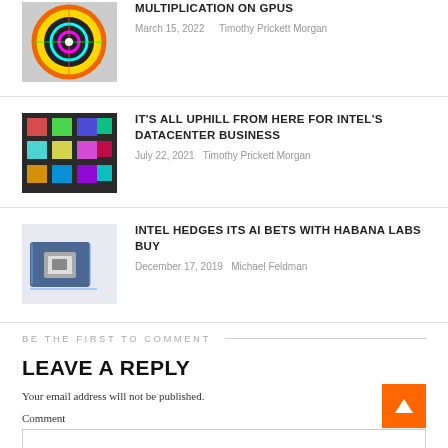[Figure (photo): Colorful circular GPU chip graphic thumbnail]
MULTIPLICATION ON GPUS
March 15, 2022   Timothy Prickett Morgan
[Figure (photo): Colorful microchip die photo thumbnail — Intel datacenter]
IT'S ALL UPHILL FROM HERE FOR INTEL'S DATACENTER BUSINESS
July 22, 2021   Timothy Prickett Morgan
[Figure (photo): Blue circuit board / processor card thumbnail — Habana Labs]
INTEL HEDGES ITS AI BETS WITH HABANA LABS BUY
December 17, 2019   Michael Feldman
BE THE FIRST TO COMMENT
LEAVE A REPLY
Your email address will not be published.
Comment